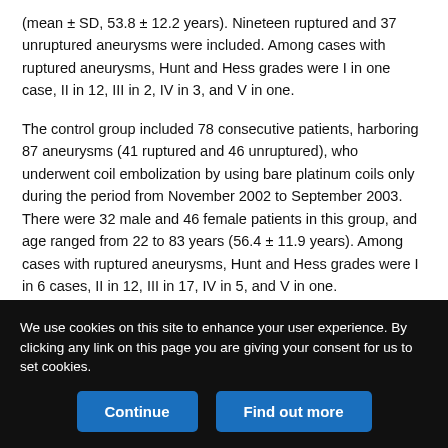(mean ± SD, 53.8 ± 12.2 years). Nineteen ruptured and 37 unruptured aneurysms were included. Among cases with ruptured aneurysms, Hunt and Hess grades were I in one case, II in 12, III in 2, IV in 3, and V in one.
The control group included 78 consecutive patients, harboring 87 aneurysms (41 ruptured and 46 unruptured), who underwent coil embolization by using bare platinum coils only during the period from November 2002 to September 2003. There were 32 male and 46 female patients in this group, and age ranged from 22 to 83 years (56.4 ± 11.9 years). Among cases with ruptured aneurysms, Hunt and Hess grades were I in 6 cases, II in 12, III in 17, IV in 5, and V in one.
We use cookies on this site to enhance your user experience. By clicking any link on this page you are giving your consent for us to set cookies.